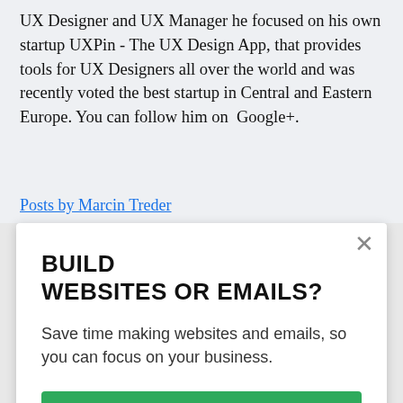UX Designer and UX Manager he focused on his own startup UXPin - The UX Design App, that provides tools for UX Designers all over the world and was recently voted the best startup in Central and Eastern Europe. You can follow him on  Google+.
Posts by Marcin Treder
BUILD WEBSITES OR EMAILS?
Save time making websites and emails, so you can focus on your business.
TRY OUR APPS